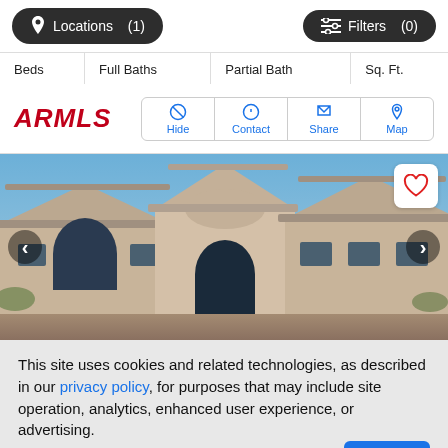Locations (1)   Filters (0)
| Beds | Full Baths | Partial Bath | Sq. Ft. |
| --- | --- | --- | --- |
[Figure (logo): ARMLS logo in red italic bold text]
Hide  Contact  Share  Map
[Figure (photo): Front exterior photo of a tan/beige stucco single-story home with tile roof against a blue sky, with heart/favorite icon and left/right navigation arrows]
This site uses cookies and related technologies, as described in our privacy policy, for purposes that may include site operation, analytics, enhanced user experience, or advertising.
Manage Preferences   Accept